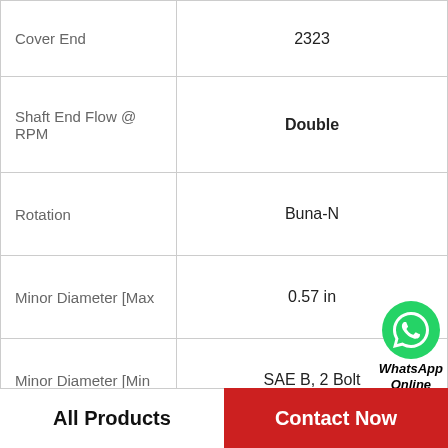| Property | Value |
| --- | --- |
| Cover End | 2323 |
| Shaft End Flow @ RPM | Double |
| Rotation | Buna-N |
| Minor Diameter [Max | 0.57 in |
| Minor Diameter [Min | SAE B, 2 Bolt |
| Integral Valve Configuration | Single Shaft Seal |
| Manufacturer Part No. | 5 3/4 in |
| Pump Series | Pump |
[Figure (logo): WhatsApp contact bubble with green phone icon and bold italic text 'WhatsApp Online']
All Products    Contact Now